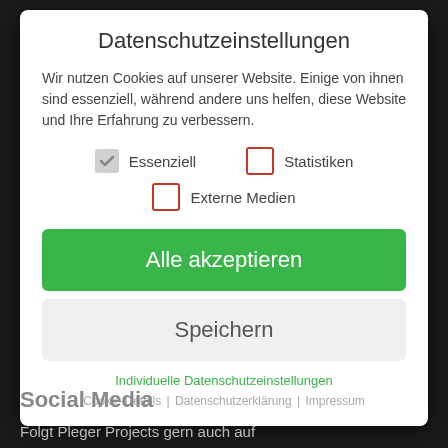Datenschutzeinstellungen
Wir nutzen Cookies auf unserer Website. Einige von ihnen sind essenziell, während andere uns helfen, diese Website und Ihre Erfahrung zu verbessern.
Essenziell (checked)
Statistiken (unchecked)
Externe Medien (unchecked)
Alle akzeptieren
Speichern
Individuelle Datenschutzeinstellungen
Cookie-Details | Datenschutzerklärung | Impressum
Social Media
Folgt Pleger Projects gern auch auf